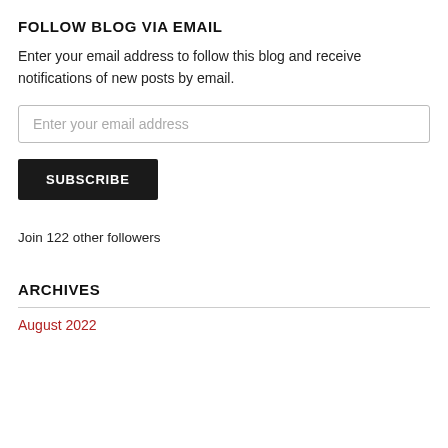FOLLOW BLOG VIA EMAIL
Enter your email address to follow this blog and receive notifications of new posts by email.
Enter your email address
SUBSCRIBE
Join 122 other followers
ARCHIVES
August 2022